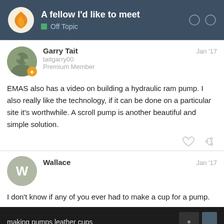A fellow I'd like to meet — Off Topic
Garry Tait
taitgarry00
Premium Member
Jan '17
EMAS also has a video on building a hydraulic ram pump. I also really like the technology, if it can be done on a particular site it's worthwhile. A scroll pump is another beautiful and simple solution.
Wallace
Jan '17
I don't know if any of you ever had to make a cup for a pump.
[Figure (screenshot): Video thumbnail with dark background and text 'making pumps leather cups']